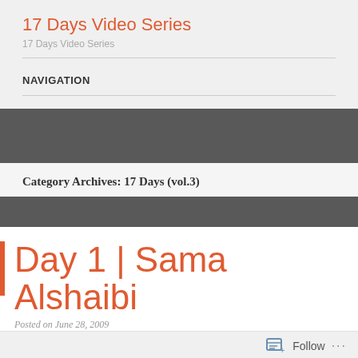17 Days Video Series
17 Days Video Series
NAVIGATION
Category Archives: 17 Days (vol.3)
Day 1 | Sama Alshaibi
Posted on June 28, 2009
Follow